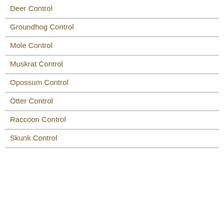Deer Control
Groundhog Control
Mole Control
Muskrat Control
Opossum Control
Otter Control
Raccoon Control
Skunk Control